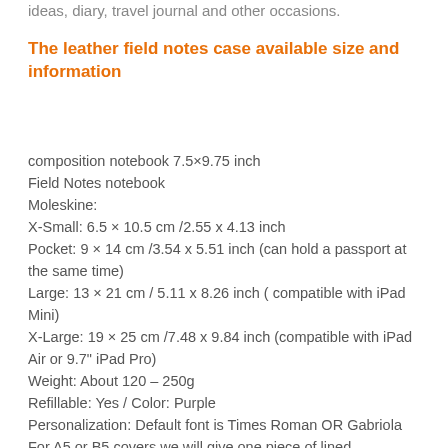ideas, diary, travel journal and other occasions.
The leather field notes case available size and information
composition notebook 7.5×9.75 inch
Field Notes notebook
Moleskine:
X-Small: 6.5 × 10.5 cm /2.55 x 4.13 inch
Pocket: 9 × 14 cm /3.54 x 5.51 inch (can hold a passport at the same time)
Large: 13 × 21 cm / 5.11 x 8.26 inch ( compatible with iPad Mini)
X-Large: 19 × 25 cm /7.48 x 9.84 inch (compatible with iPad Air or 9.7" iPad Pro)
Weight: About 120 – 250g
Refillable: Yes / Color: Purple
Personalization: Default font is Times Roman OR Gabriola
For A5 or B5 covers we will give one piece of lined